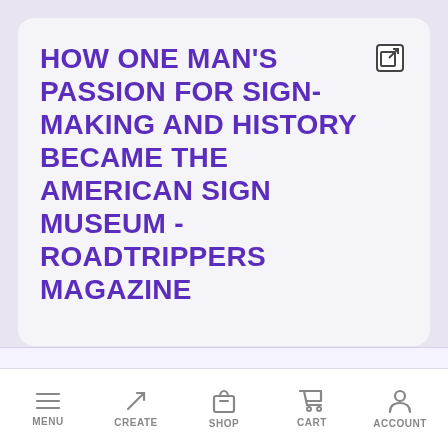HOW ONE MAN'S PASSION FOR SIGN-MAKING AND HISTORY BECAME THE AMERICAN SIGN MUSEUM - ROADTRIPPERS MAGAZINE
[Figure (other): External link icon (square with arrow) in top-right of card]
[Figure (other): Purple circular floating action button with upward chevron arrow]
MENU  CREATE  SHOP  CART  ACCOUNT